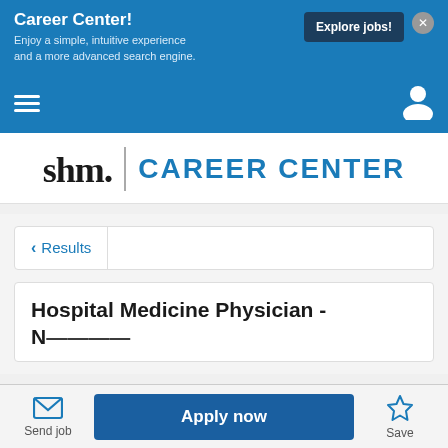Career Center! Enjoy a simple, intuitive experience and a more advanced search engine.
Explore jobs!
[Figure (logo): shm. CAREER CENTER logo with serif shm text and sans-serif Career Center text in blue]
< Results
Hospital Medicine Physician -
Send job
Apply now
Save